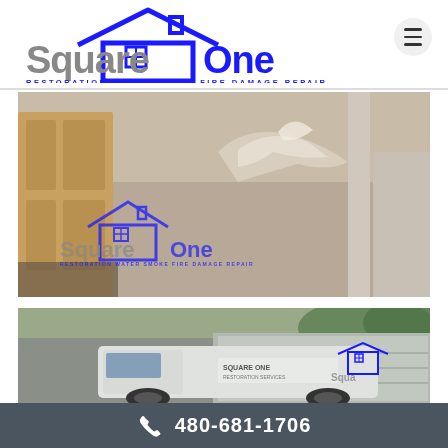[Figure (logo): Square One Restoration Water Smoke Fire Damage Repair logo with house graphic]
[Figure (photo): Interior photo showing water damaged ceiling with peeling drywall, Square One watermark logo overlay]
[Figure (photo): Exterior photo showing Square One company van parked outside a house]
480-681-1706